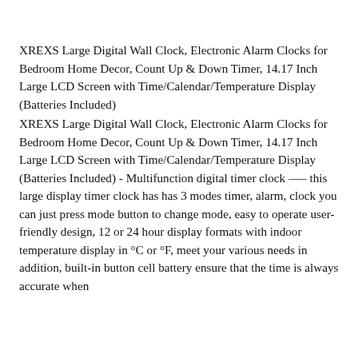XREXS Large Digital Wall Clock, Electronic Alarm Clocks for Bedroom Home Decor, Count Up & Down Timer, 14.17 Inch Large LCD Screen with Time/Calendar/Temperature Display (Batteries Included)
XREXS Large Digital Wall Clock, Electronic Alarm Clocks for Bedroom Home Decor, Count Up & Down Timer, 14.17 Inch Large LCD Screen with Time/Calendar/Temperature Display (Batteries Included) - Multifunction digital timer clock —– this large display timer clock has has 3 modes timer, alarm, clock you can just press mode button to change mode, easy to operate user-friendly design, 12 or 24 hour display formats with indoor temperature display in °C or °F, meet your various needs in addition, built-in button cell battery ensure that the time is always accurate when